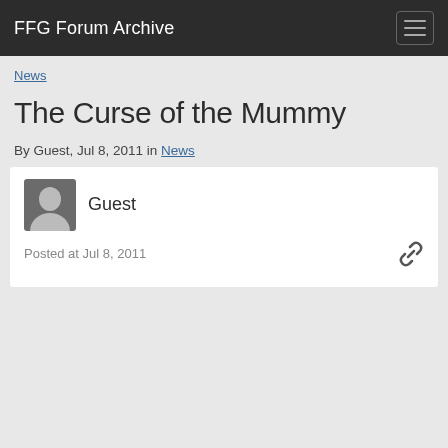FFG Forum Archive
News
The Curse of the Mummy
By Guest, Jul 8, 2011 in News
Guest
Posted at Jul 8, 2011